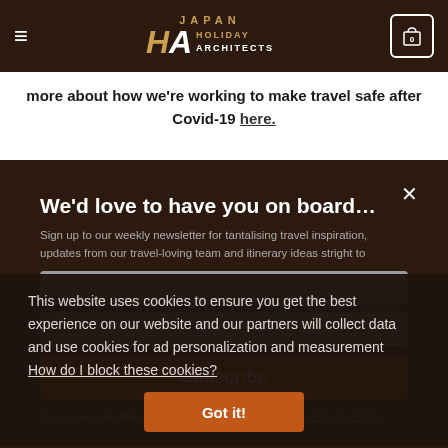Japan Holiday Architects — navigation bar with logo and cart icon showing 0
more about how we're working to make travel safe after Covid-19 here.
We'd love to have you on board…
Sign up to our weekly newsletter for tantalising travel inspiration, updates from our travel-loving team and itinerary ideas stright to
This website uses cookies to ensure you get the best experience on our website and our partners will collect data and use cookies for ad personalization and measurement
How do I block these cookies?
First name
Email
Subscribe
Got it!
You can unsubscribe anytime. For more details, here's our Privacy Policy.